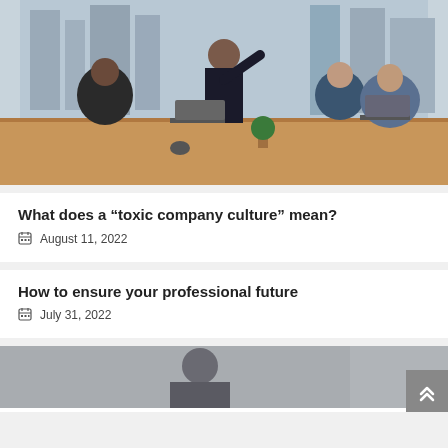[Figure (photo): Business meeting photo: man in suit standing at conference table presenting to colleagues using laptops, city skyline visible through windows]
What does a “toxic company culture” mean?
August 11, 2022
How to ensure your professional future
July 31, 2022
[Figure (photo): Partial photo visible at bottom of page, showing a person in an indoor setting]